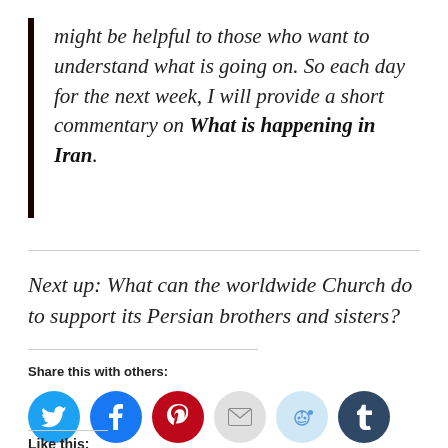might be helpful to those who want to understand what is going on. So each day for the next week, I will provide a short commentary on What is happening in Iran.
Next up: What can the worldwide Church do to support its Persian brothers and sisters?
Share this with others:
[Figure (other): Social sharing icons: Twitter (blue), Facebook (blue), Pinterest (red), Email (gray), Reddit (light blue), Tumblr (dark navy)]
Like this: